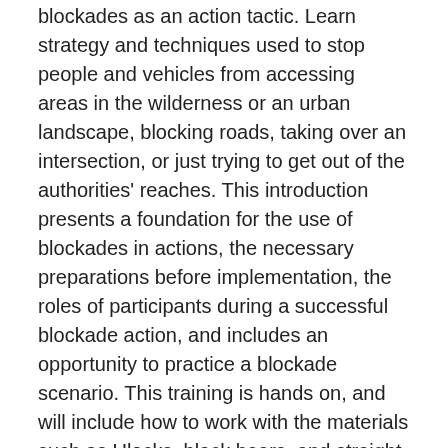blockades as an action tactic. Learn strategy and techniques used to stop people and vehicles from accessing areas in the wilderness or an urban landscape, blocking roads, taking over an intersection, or just trying to get out of the authorities' reaches. This introduction presents a foundation for the use of blockades in actions, the necessary preparations before implementation, the roles of participants during a successful blockade action, and includes an opportunity to practice a blockade scenario. This training is hands on, and will include how to work with the materials such as Ulocks, black bears, and straight boxes, as well as methods of soft blockades using your body. This training can be adapted to include a thorough training of building and using Tripods, which adds an additional hour to the training.
We are excited to help you amplify your activism with our workshops and trainings. Fill out the form below to let us know you're interested in hosting or attending one of our